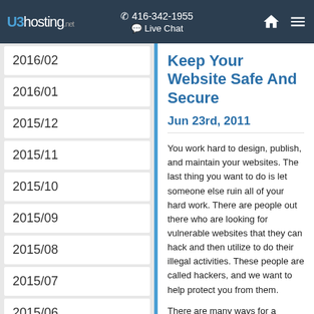U3hosting.net | ☎ 416-342-1955 | 💬 Live Chat
2016/02
2016/01
2015/12
2015/11
2015/10
2015/09
2015/08
2015/07
2015/06
2015/05
2015/04
2015/03
Keep Your Website Safe And Secure
Jun 23rd, 2011
You work hard to design, publish, and maintain your websites. The last thing you want to do is let someone else ruin all of your hard work. There are people out there who are looking for vulnerable websites that they can hack and then utilize to do their illegal activities. These people are called hackers, and we want to help protect you from them.
There are many ways for a hacker to gain access to your website, but there are a few very common methods that can be prevented very easily. Hopefully, if you are resilient and always stay one step ahead of them, you will never have the unpleasant experience of having your website hacked by one of these unruly characters.
The first, most common way to have your website hacked is by activating a virus on your own computer that you use to access your website